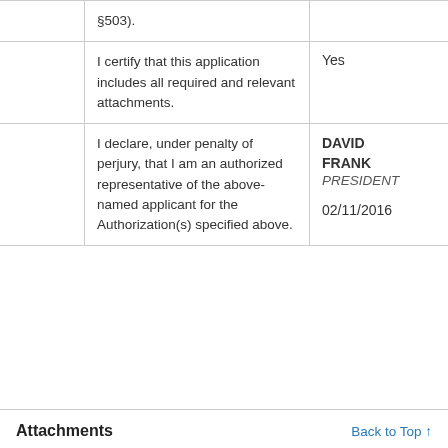|  | Question | Answer |
| --- | --- | --- |
|  | §503). |  |
|  | I certify that this application includes all required and relevant attachments. | Yes |
|  | I declare, under penalty of perjury, that I am an authorized representative of the above-named applicant for the Authorization(s) specified above. | DAVID FRANK
PRESIDENT
02/11/2016 |
Attachments
Back to Top ↑